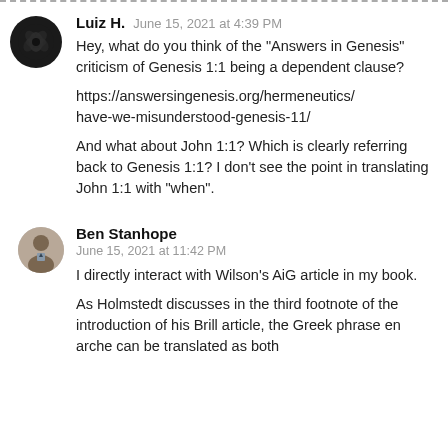Luiz H.  June 15, 2021 at 4:39 PM
Hey, what do you think of the "Answers in Genesis" criticism of Genesis 1:1 being a dependent clause?
https://answersingenesis.org/hermeneutics/have-we-misunderstood-genesis-11/
And what about John 1:1? Which is clearly referring back to Genesis 1:1? I don't see the point in translating John 1:1 with "when".
Ben Stanhope  June 15, 2021 at 11:42 PM
I directly interact with Wilson's AiG article in my book.
As Holmstedt discusses in the third footnote of the introduction of his Brill article, the Greek phrase en arche can be translated as both